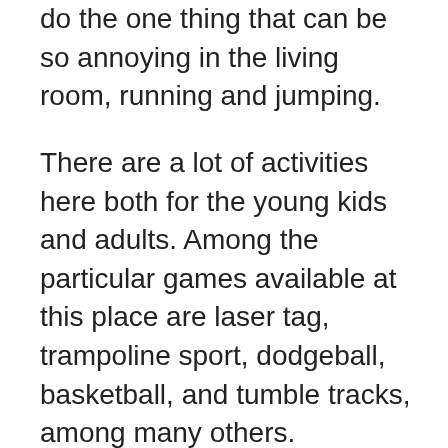do the one thing that can be so annoying in the living room, running and jumping.
There are a lot of activities here both for the young kids and adults. Among the particular games available at this place are laser tag, trampoline sport, dodgeball, basketball, and tumble tracks, among many others.
The place has affordable packages for families in Henderson. Visit their website for birthday party planning, and a list of activities that are currently available at their Henderson and Summerlin